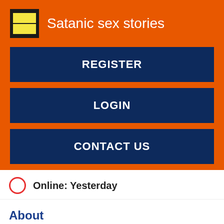Satanic sex stories
REGISTER
LOGIN
CONTACT US
Online: Yesterday
About
Morning Suprise 7 min. Thai teen loves being fucked without a condom 6 min. Cuckold Teenie! Yes honey I am a fucking-fucking bitch a slutty whore! Preview 48